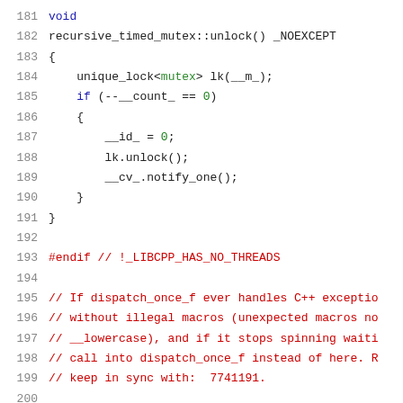Source code listing lines 181-201, C++ implementation of recursive_timed_mutex::unlock() and surrounding preprocessor directives and comments.